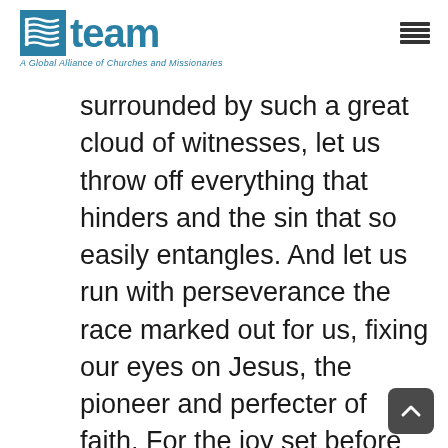TEAM — A Global Alliance of Churches and Missionaries
surrounded by such a great cloud of witnesses, let us throw off everything that hinders and the sin that so easily entangles. And let us run with perseverance the race marked out for us, fixing our eyes on Jesus, the pioneer and perfecter of faith. For the joy set before him he endured the cross, scorning its shame, and sat down at the right hand of the